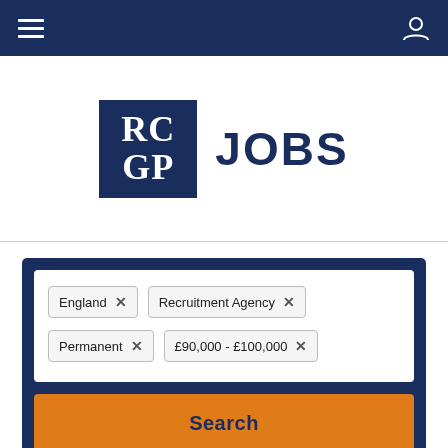RCGP JOBS navigation bar
[Figure (logo): RCGP Jobs logo with dark navy square containing RC GP in serif white text and JOBS in large bold navy text]
England × Recruitment Agency × Permanent × £90,000 - £100,000 ×
Search